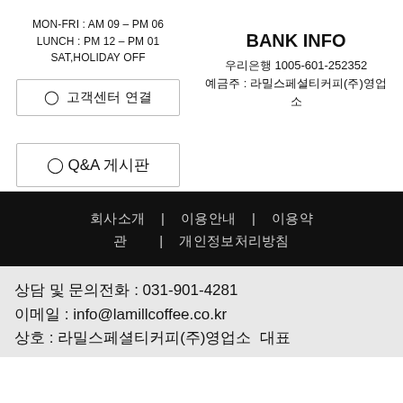MON-FRI : AM 09 - PM 06
LUNCH : PM 12 - PM 01
SAT,HOLIDAY OFF
BANK INFO
우리은행 1005-601-252352
예금주 : 라밀스페셜티커피(주)영업소
© 고객센터 연결
○ Q&A 게시판
회사소개 | 이용안내 | 이용약관 | 개인정보처리방침
상담 및 문의전화 : 031-901-4281
이메일 : info@lamillcoffee.co.kr
상호 : 라밀스페셜티커피(주)영업소 대표